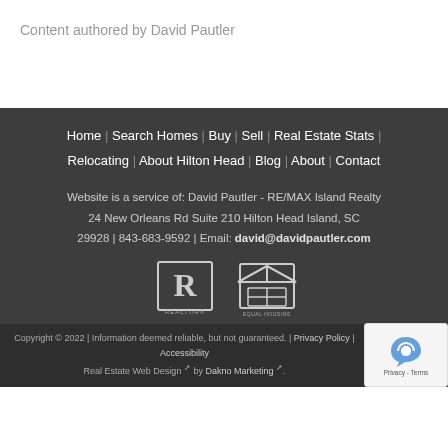Content authored by David Pautler
Home | Search Homes | Buy | Sell | Real Estate Stats | Relocating | About Hilton Head | Blog | About | Contact
Website is a service of: David Pautler - RE/MAX Island Realty 24 New Orleans Rd Suite 210 Hilton Head Island, SC 29928 | 843-683-9592 | Email: david@davidpautler.com
[Figure (logo): Realtor and Equal Housing Opportunity logos]
Copyright © 2022 | Information deemed reliable, but not guaranteed. | Privacy Policy | Accessibility Real Estate Web Design by Dakno Marketing.